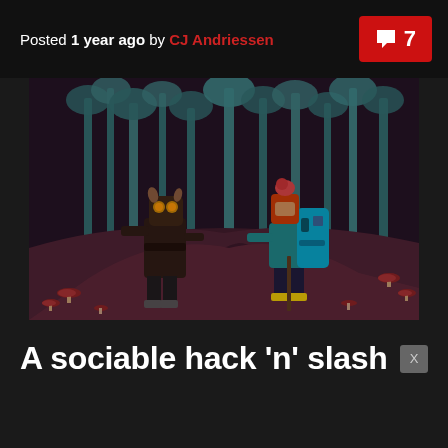Posted 1 year ago by CJ Andriessen  💬 7
[Figure (screenshot): Pixel-art style video game screenshot showing two characters in a dark forest: a monster/mutant creature on the left facing a young character with a pink mohawk, teal jacket, and large backpack on the right. The forest has pale birch-like trees with teal foliage, dark purple/maroon ground, and mushrooms scattered around.]
A sociable hack 'n' slash